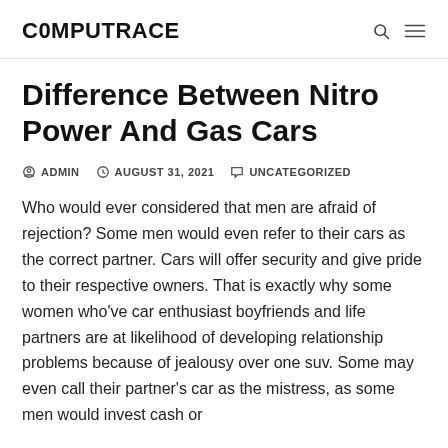C0MPUTRACE
Difference Between Nitro Power And Gas Cars
ADMIN  AUGUST 31, 2021  UNCATEGORIZED
Who would ever considered that men are afraid of rejection? Some men would even refer to their cars as the correct partner. Cars will offer security and give pride to their respective owners. That is exactly why some women who've car enthusiast boyfriends and life partners are at likelihood of developing relationship problems because of jealousy over one suv. Some may even call their partner's car as the mistress, as some men would invest cash or